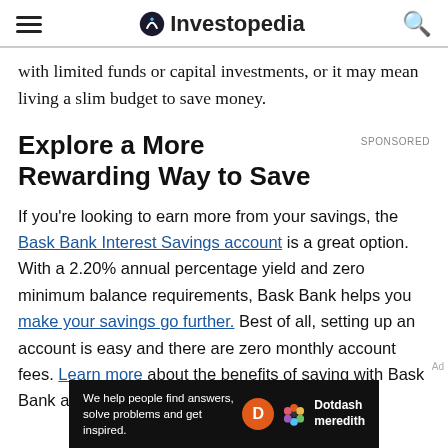Investopedia
with limited funds or capital investments, or it may mean living a slim budget to save money.
Explore a More Rewarding Way to Save
If you’re looking to earn more from your savings, the Bask Bank Interest Savings account is a great option. With a 2.20% annual percentage yield and zero minimum balance requirements, Bask Bank helps you make your savings go further. Best of all, setting up an account is easy and there are zero monthly account fees. Learn more about the benefits of saving with Bask Bank and open an account today.
[Figure (logo): Dotdash Meredith footer banner with tagline: We help people find answers, solve problems and get inspired.]